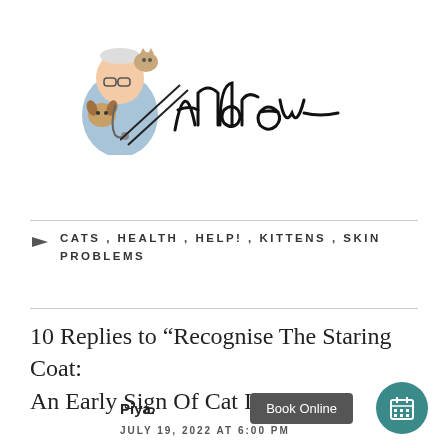[Figure (logo): Veterinarian logo with illustration of a man holding a dog with a cat on his shoulder, overlaid with a handwritten-style signature reading 'Andrew']
CATS , HEALTH , HELP! , KITTENS , SKIN PROBLEMS
10 Replies to “Recognise The Staring Coat: An Early Sign Of Cat Illness”
Piya.
JULY 19, 2022 AT 6:00 PM